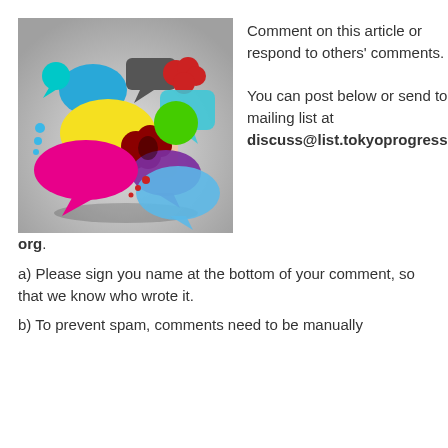[Figure (illustration): Colorful speech bubble icons of various shapes and colors overlapping on a gray gradient background.]
Comment on this article or respond to others' comments.

You can post below or send to the mailing list at discuss@list.tokyoprogressive.org.
a) Please sign you name at the bottom of your comment, so that we know who wrote it.
b) To prevent spam, comments need to be manually